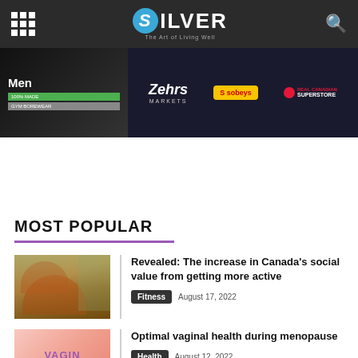SILVER - The Art of Living Well
[Figure (screenshot): Banner advertisement featuring Men's section, Zehrs Markets, Sobeys, and Real Canadian Superstore logos on dark background]
MOST POPULAR
Revealed: The increase in Canada's social value from getting more active
Fitness  August 17, 2022
Optimal vaginal health during menopause
Health  August 12, 2022